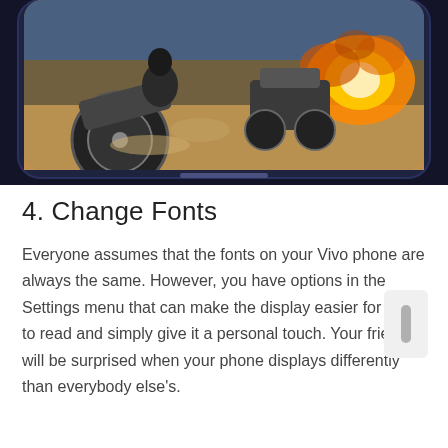[Figure (photo): A smartphone displaying a mobile game scene with motorcycles, explosions, and action gameplay on a dark-framed phone screen against a dark navy background.]
4. Change Fonts
Everyone assumes that the fonts on your Vivo phone are always the same. However, you have options in the Settings menu that can make the display easier for you to read and simply give it a personal touch. Your friends will be surprised when your phone displays differently than everybody else's.